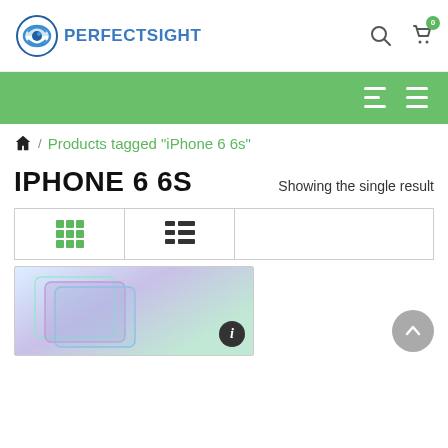[Figure (logo): PerfectSight logo with blue swirl eye icon and blue text PERFECTSIGHT]
PERFECTSIGHT
[Figure (screenshot): Green navigation bar with two hamburger menu icons on the right]
/ Products tagged “iPhone 6 6s”
IPHONE 6 6S
Showing the single result
[Figure (screenshot): View toggle bar with grid icon (green) and list icon (black)]
[Figure (photo): Product image showing iPhone 6/6S screen protectors with purple and teal coloring, with an info button overlay]